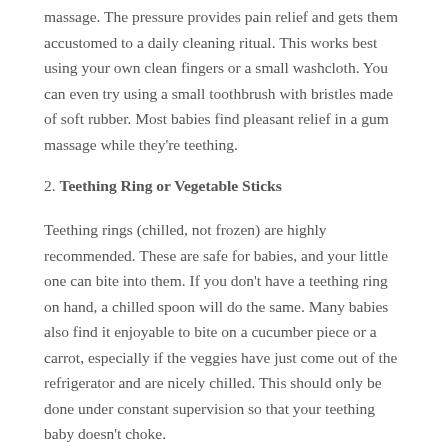massage. The pressure provides pain relief and gets them accustomed to a daily cleaning ritual. This works best using your own clean fingers or a small washcloth. You can even try using a small toothbrush with bristles made of soft rubber. Most babies find pleasant relief in a gum massage while they're teething.
2. Teething Ring or Vegetable Sticks
Teething rings (chilled, not frozen) are highly recommended. These are safe for babies, and your little one can bite into them. If you don't have a teething ring on hand, a chilled spoon will do the same. Many babies also find it enjoyable to bite on a cucumber piece or a carrot, especially if the veggies have just come out of the refrigerator and are nicely chilled. This should only be done under constant supervision so that your teething baby doesn't choke.